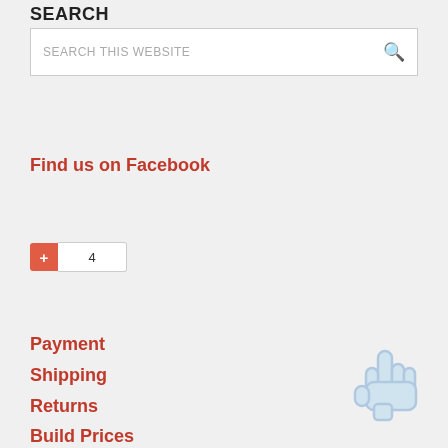SEARCH
[Figure (screenshot): Search box with placeholder text 'SEARCH THIS WEBSITE' and a magnifying glass icon on the right]
Find us on Facebook
[Figure (infographic): Google Plus widget showing +1 button with red background and count of 4]
Payment
Shipping
Returns
Build Prices
[Figure (illustration): Light blue hand/cursor pointer icon in the bottom right area]